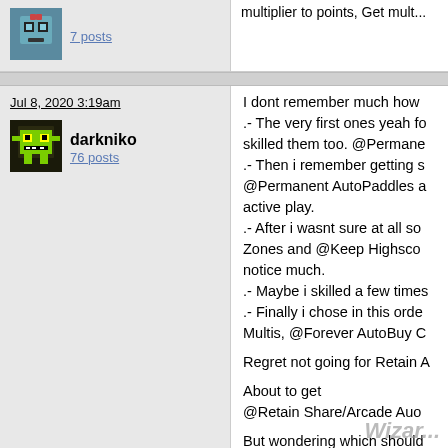7 posts
multiplier to points, Get mult...
Jul 8, 2020 3:19am
[Figure (photo): Avatar image of user darkniko showing a pixel art green monster character]
darkniko
76 posts
I dont remember much how .- The very first ones yeah fo skilled them too. @Permane .- Then i remember getting s @Permanent AutoPaddles a active play. .- After i wasnt sure at all so Zones and @Keep Highsco notice much. .- Maybe i skilled a few times .- Finally i chose in this orde Multis, @Forever AutoBuy C
Regret not going for Retain A
About to get @Retain Share/Arcade Auo
But wondering which should @Double Favors again or @ I think its Double Favors aga